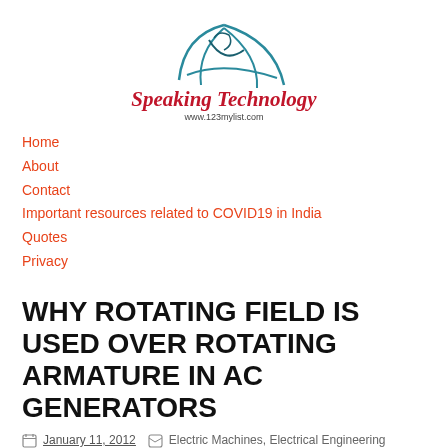[Figure (logo): Speaking Technology website logo with stylized bird/kite graphic above the text 'Speaking Technology' in red italic and 'www.123mylist.com' below]
Home
About
Contact
Important resources related to COVID19 in India
Quotes
Privacy
WHY ROTATING FIELD IS USED OVER ROTATING ARMATURE IN AC GENERATORS
January 11, 2012   Electric Machines, Electrical Engineering
Why Rotating Field is used over Rotating Armature in AC